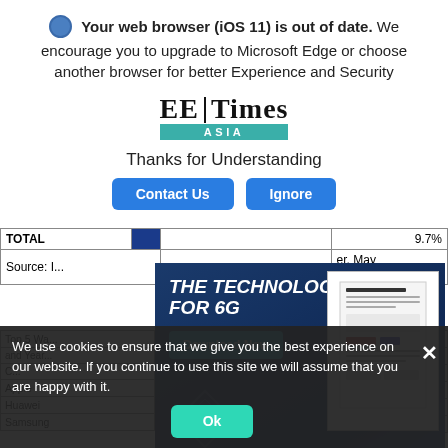Your web browser (iOS 11) is out of date. We encourage you to upgrade to Microsoft Edge or choose another browser for better Experience and Security
[Figure (logo): EE Times Asia logo with teal ASIA bar]
Thanks for Understanding
Contact Us | Ignore (buttons)
| TOTAL |  |  | 9.7% |
| Source: I... |  |  | er, May 2020 |
[Figure (infographic): THE TECHNOLOGY FOR 6G advertisement banner with Download Now button and document image preview]
| Top 5 Wa... |  |  | Share |
| --- | --- | --- | --- |
| and Year... |  |  | ons) |
| C... | Shipments | Shipments | Share |
| Apple | 4.5 | 25.8... | 25.4% |
| Huawei | 2.6 | 15.2%... | 8.4% |
| Samsung | 1.8 | 10.8%... | 10.8% | -7.2% |
We use cookies to ensure that we give you the best experience on our website. If you continue to use this site we will assume that you are happy with it.
Ok (button)